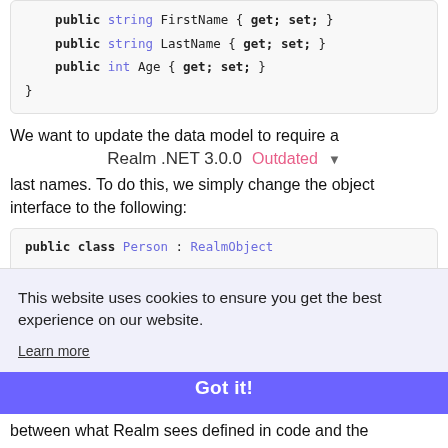[Figure (screenshot): Code block showing C# class properties: public string FirstName { get; set; }, public string LastName { get; set; }, public int Age { get; set; }, closing brace]
We want to update the data model to require a
Realm .NET 3.0.0  Outdated ▾
last names. To do this, we simply change the object interface to the following:
[Figure (screenshot): Code block showing: public class Person : RealmObject (partially visible, cut off)]
This website uses cookies to ensure you get the best experience on our website.
Learn more
Got it!
between what Realm sees defined in code and the